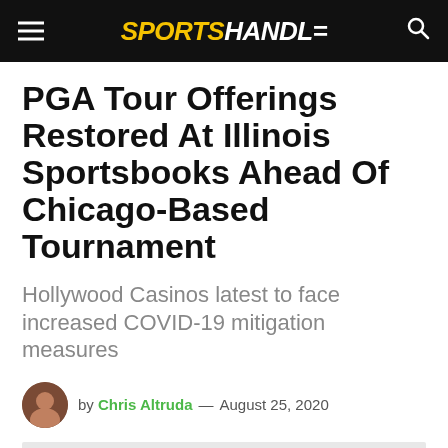SPORTS HANDLE
PGA Tour Offerings Restored At Illinois Sportsbooks Ahead Of Chicago-Based Tournament
Hollywood Casinos latest to face increased COVID-19 mitigation measures
by Chris Altruda — August 25, 2020
[Figure (photo): Light gray image placeholder at bottom of article]